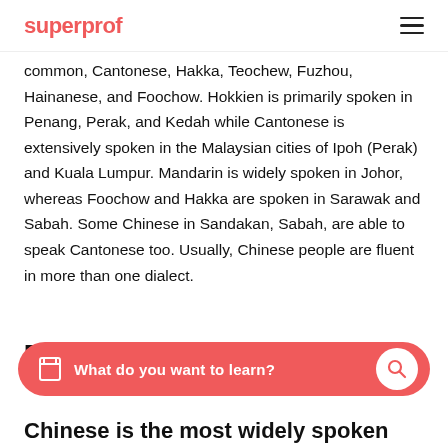superprof
common, Cantonese, Hakka, Teochew, Fuzhou, Hainanese, and Foochow. Hokkien is primarily spoken in Penang, Perak, and Kedah while Cantonese is extensively spoken in the Malaysian cities of Ipoh (Perak) and Kuala Lumpur. Mandarin is widely spoken in Johor, whereas Foochow and Hakka are spoken in Sarawak and Sabah. Some Chinese in Sandakan, Sabah, are able to speak Cantonese too. Usually, Chinese people are fluent in more than one dialect.
Reasons for Learning Chinese
[Figure (other): Search bar with salmon/red background, book icon on left, placeholder text 'What do you want to learn?' and a white circular search button on the right]
Chinese is the most widely spoken